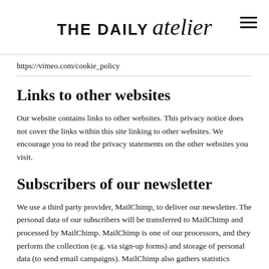THE DAILY atelier
https://vimeo.com/cookie_policy
Links to other websites
Our website contains links to other websites. This privacy notice does not cover the links within this site linking to other websites. We encourage you to read the privacy statements on the other websites you visit.
Subscribers of our newsletter
We use a third party provider, MailChimp, to deliver our newsletter. The personal data of our subscribers will be transferred to MailChimp and processed by MailChimp. MailChimp is one of our processors, and they perform the collection (e.g. via sign-up forms) and storage of personal data (to send email campaigns). MailChimp also gathers statistics around email